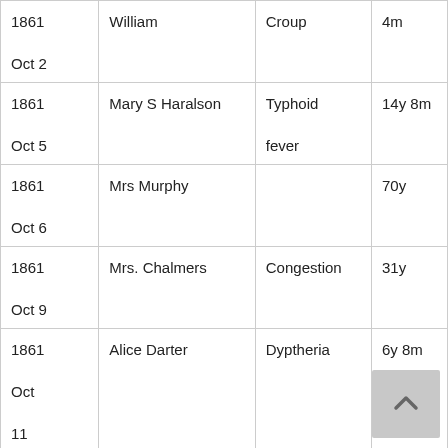| Date | Name | Cause | Age |
| --- | --- | --- | --- |
| 1861 Oct 2 | William | Croup | 4m |
| 1861 Oct 5 | Mary S Haralson | Typhoid fever | 14y 8m |
| 1861 Oct 6 | Mrs Murphy |  | 70y |
| 1861 Oct 9 | Mrs. Chalmers | Congestion | 31y |
| 1861 Oct 11 | Alice Darter | Dyptheria | 6y 8m |
| 1861 | Infant Son of J. S. | Sore Throat | 6m |